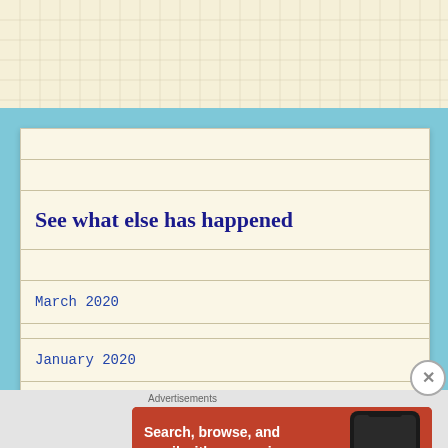[Figure (screenshot): Graph paper background at top of page with light blue background behind main card]
See what else has happened
March 2020
January 2020
August 2019
July 2019
Advertisements
[Figure (screenshot): DuckDuckGo advertisement: Search, browse, and email with more privacy. All in One Free App. Shows a phone with DuckDuckGo app.]